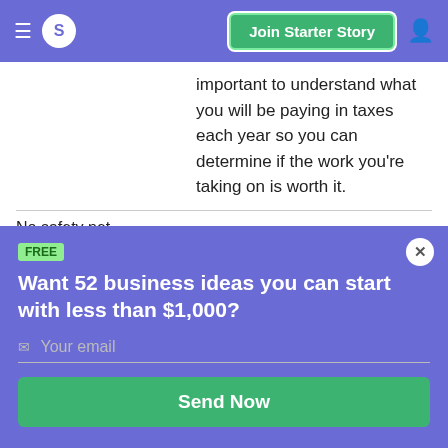S | Join Starter Story
important to understand what you will be paying in taxes each year so you can determine if the work you're taking on is worth it.
| No safety net | Typically, as a hashtag challenge business, you do not receive a consistent pay check and instead |
FREE
Want 52 business ideas you can start with less than $1,000?
Your email
Send Now